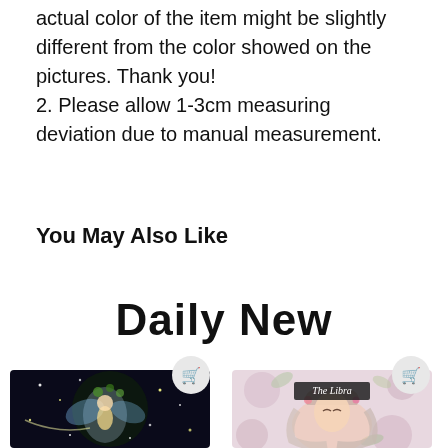actual color of the item might be slightly different from the color showed on the pictures. Thank you! 2. Please allow 1-3cm measuring deviation due to manual measurement.
You May Also Like
Daily New
[Figure (photo): Diamond painting product image showing a fairy (Tinker Bell) with sparkles and flowers on a dark background, with a shopping cart button overlay]
[Figure (photo): Diamond painting product image showing The Libra zodiac themed artwork with a woman with flowing hair and floral elements, with a shopping cart button overlay]